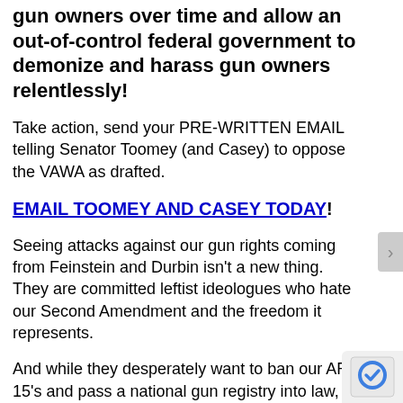gun owners over time and allow an out-of-control federal government to demonize and harass gun owners relentlessly!
Take action, send your PRE-WRITTEN EMAIL telling Senator Toomey (and Casey) to oppose the VAWA as drafted.
EMAIL TOOMEY AND CASEY TODAY!
Seeing attacks against our gun rights coming from Feinstein and Durbin isn't a new thing. They are committed leftist ideologues who hate our Second Amendment and the freedom it represents.
And while they desperately want to ban our AR-15's and pass a national gun registry into law, they don't have the votes to get that done in the Senate right now.